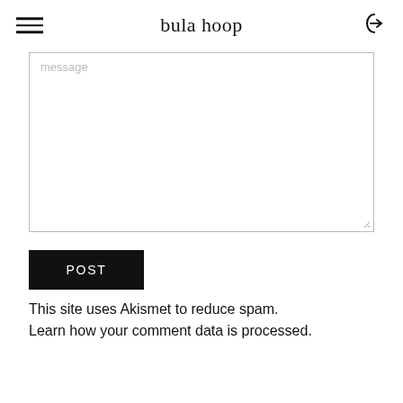bula hoop
[Figure (screenshot): Message textarea input box with placeholder text 'message' and resize handle]
[Figure (screenshot): POST button, black background with white text]
This site uses Akismet to reduce spam. Learn how your comment data is processed.